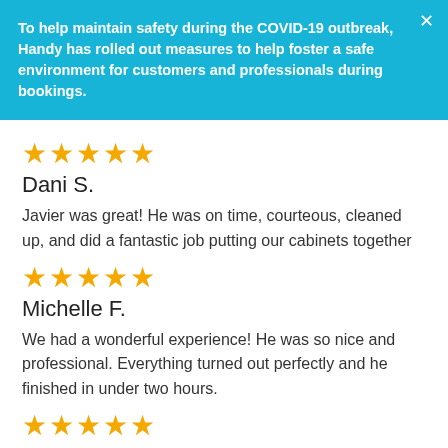To help maintain safety during the COVID-19 outbreak, Handy has rolled out measures to help foster a safe environment for customers and professionals during bookings.
★★★★★
Dani S.
Javier was great! He was on time, courteous, cleaned up, and did a fantastic job putting our cabinets together
★★★★★
Michelle F.
We had a wonderful experience! He was so nice and professional. Everything turned out perfectly and he finished in under two hours.
★★★★★